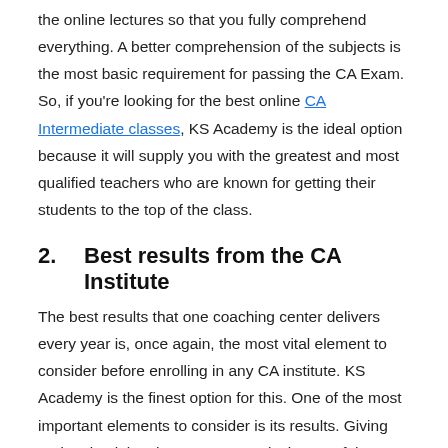the online lectures so that you fully comprehend everything. A better comprehension of the subjects is the most basic requirement for passing the CA Exam. So, if you're looking for the best online CA Intermediate classes, KS Academy is the ideal option because it will supply you with the greatest and most qualified teachers who are known for getting their students to the top of the class.
2.   Best results from the CA Institute
The best results that one coaching center delivers every year is, once again, the most vital element to consider before enrolling in any CA institute. KS Academy is the finest option for this. One of the most important elements to consider is its results. Giving and maintaining the greatest results is one of the most important factors to consider.
3.   Well-researched SAP paper series